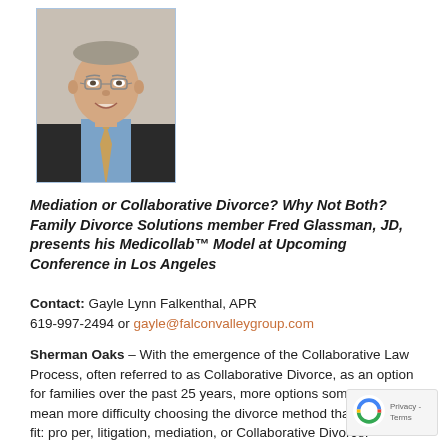[Figure (photo): Headshot photo of a middle-aged man wearing glasses, a dark suit jacket, blue shirt, and patterned tie, smiling at the camera]
Mediation or Collaborative Divorce? Why Not Both?Family Divorce Solutions member Fred Glassman, JD, presents his Medicollab™ Model at Upcoming Conference in Los Angeles
Contact: Gayle Lynn Falkenthal, APR
619-997-2494 or gayle@falconvalleygroup.com
Sherman Oaks – With the emergence of the Collaborative Law Process, often referred to as Collaborative Divorce, as an option for families over the past 25 years, more options sometimes mean more difficulty choosing the divorce method that is the best fit: pro per, litigation, mediation, or Collaborative Divorce.
Couples who want to avoid going to court can find it confusing selecting either mediation or Collaborative Divorce. Many couples want to try and resolve their differences through